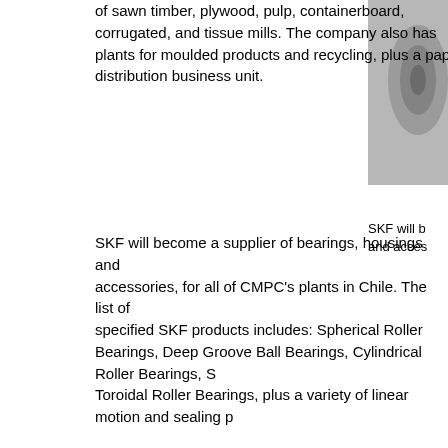of sawn timber, plywood, pulp, containerboard, corrugated, and tissue mills. The company also has plants for moulded products and recycling, plus a paper distribution business unit.
[Figure (photo): Close-up photo of a bearing or industrial component, partially cropped on the right side of the page]
SKF will b... and acces...
SKF will become a supplier of bearings, housings and accessories, for all of CMPC's plants in Chile. The list of specified SKF products includes: Spherical Roller Bearings, Deep Groove Ball Bearings, Cylindrical Roller Bearings, S... Toroidal Roller Bearings, plus a variety of linear motion and sealing p...
"We operate a lean business model, with all our production lines bei... safely, efficiently and sustainably as possible. We therefore work clo... this philosophy is reflected across the supply chain and build strong... such as SKF," said Francisco Javier Morales, Assistant Manager for...
“Our decision to be partner with SKF was also based on their ability... technical support and consultancy services, which will help us optim... further,” Morales added.
SKF is a leading global supplier of bearings, seals, mechatronics, lu...